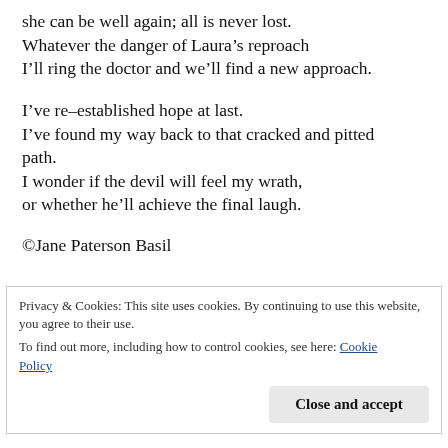she can be well again; all is never lost.
Whatever the danger of Laura’s reproach
I’ll ring the doctor and we’ll find a new approach.
I’ve re–established hope at last.
I’ve found my way back to that cracked and pitted path.
I wonder if the devil will feel my wrath,
or whether he’ll achieve the final laugh.
©Jane Paterson Basil
Advertisements
Privacy & Cookies: This site uses cookies. By continuing to use this website, you agree to their use.
To find out more, including how to control cookies, see here: Cookie Policy
Close and accept